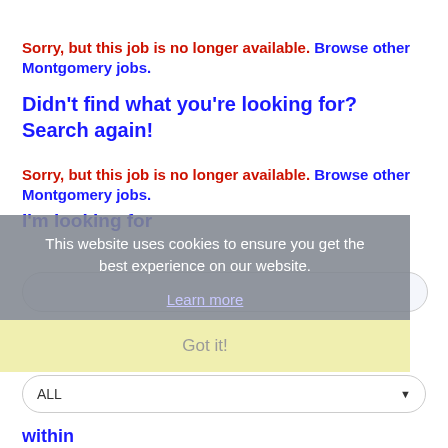Sorry, but this job is no longer available. Browse other Montgomery jobs.
Didn't find what you're looking for? Search again!
Sorry, but this job is no longer available. Browse other Montgomery jobs.
I'm looking for
[Figure (screenshot): Cookie consent overlay with text 'This website uses cookies to ensure you get the best experience on our website.' and 'Learn more' link and 'Got it!' button]
in category
ALL (dropdown)
within
100 Miles of Montgomery (dropdown)